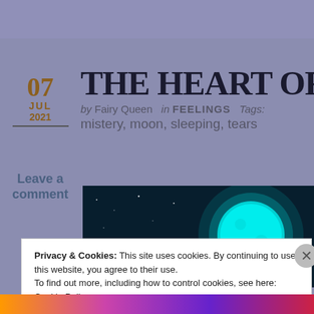THE HEART OF T
by Fairy Queen  in FEELINGS  Tags: mistery, moon, sleeping, tears
07
JUL
2021
Leave a comment
[Figure (photo): Night sky photo with a large glowing cyan/teal moon against a dark blue starry background]
Privacy & Cookies: This site uses cookies. By continuing to use this website, you agree to their use.
To find out more, including how to control cookies, see here: Cookie Policy
Close and accept